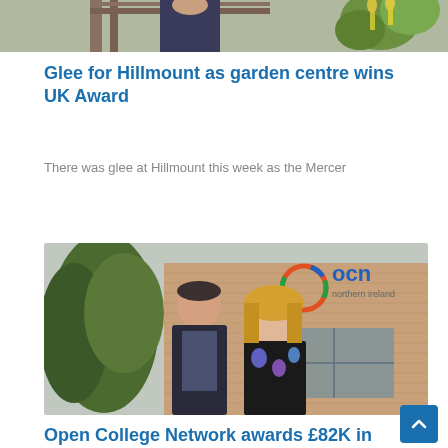[Figure (photo): Partial photo at top of page showing person standing near wooden structure and plants]
Glee for Hillmount as garden centre wins UK Award
There was glee at Hillmount this week as the Mercer
[Figure (photo): Two people (a man in dark suit and a woman with blonde hair in floral top) standing in front of OCN Northern Ireland building]
Open College Network awards £82K in